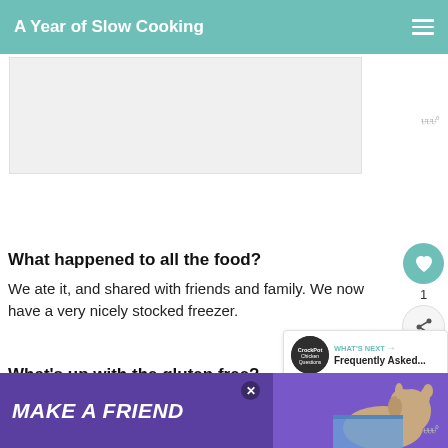A Year of Slow Cooking
[Figure (other): Advertisement placeholder banner (gray rectangle)]
What happened to all the food?
We ate it, and shared with friends and family. We now have a very nicely stocked freezer.
What's up with the gluten free?
My youngest daughter has Celiac, and we
[Figure (other): What's Next panel: CrockPot Chicken Questions – Frequently Asked...]
[Figure (other): Bottom advertisement banner: Make a Friend with dog photo]